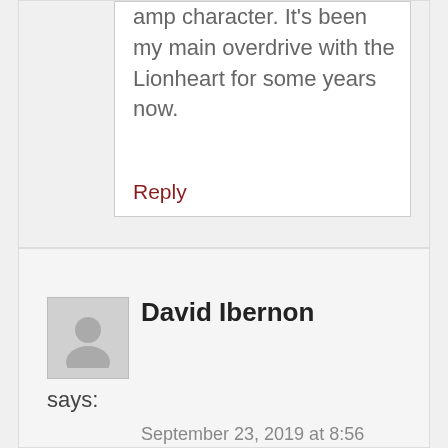amp character. It's been my main overdrive with the Lionheart for some years now.
Reply
David Ibernon
says:
September 23, 2019 at 8:56